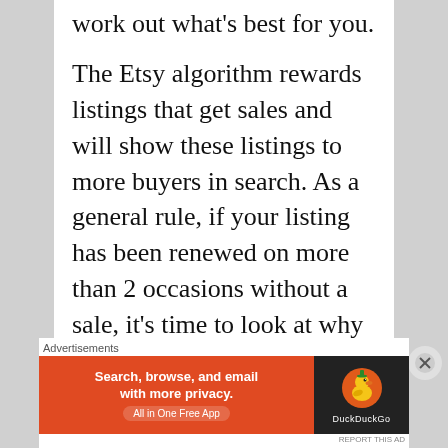work out what’s best for you.
The Etsy algorithm rewards listings that get sales and will show these listings to more buyers in search. As a general rule, if your listing has been renewed on more than 2 occasions without a sale, it’s time to look at why you are not getting any sales and either fix the
Advertisements
[Figure (screenshot): DuckDuckGo advertisement banner: orange left panel with text 'Search, browse, and email with more privacy. All in One Free App' and dark right panel with DuckDuckGo duck logo.]